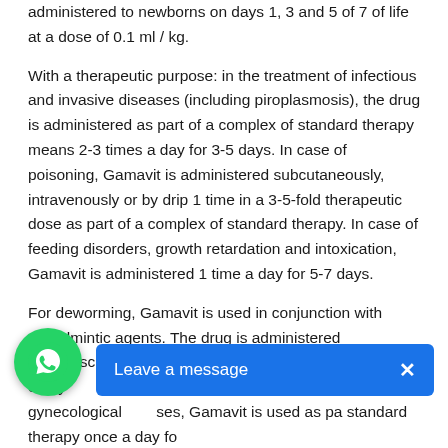administered to newborns on days 1, 3 and 5 of 7 of life at a dose of 0.1 ml / kg.
With a therapeutic purpose: in the treatment of infectious and invasive diseases (including piroplasmosis), the drug is administered as part of a complex of standard therapy means 2-3 times a day for 3-5 days. In case of poisoning, Gamavit is administered subcutaneously, intravenously or by drip 1 time in a 3-5-fold therapeutic dose as part of a complex of standard therapy. In case of feeding disorders, growth retardation and intoxication, Gamavit is administered 1 time a day for 5-7 days.
For deworming, Gamavit is used in conjunction with anthelmintic agents. The drug is administered intramuscularly on the day of deworming and again every day. In the treatment of obstetric and gynecological ses, Gamavit is used as pa standard therapy once a day fo